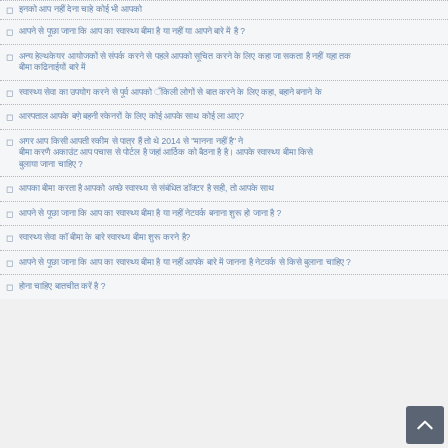[partial Hindi text - list item cut off at top]
Hindi text: question about something
Hindi text: longer question spanning two lines
Hindi text: question with comma
Hindi text: question ending with ?
Hindi text: question mentioning 2014 and quoted text, spanning three lines
Hindi text: statement with comma
Hindi text: question ending with ?
Hindi text: question ending with ?
Hindi text: longer question ending with ?
Hindi text: short question ending with ?